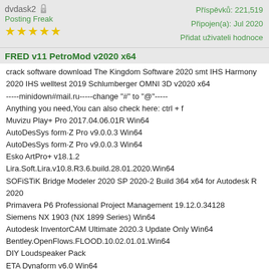dvdask2 | Příspěvků: 221,519 | Připojen(a): Jul 2020 | Posting Freak | Přidat uživateli hodnocení
FRED v11 PetroMod v2020 x64
crack software download The Kingdom Software 2020 smt IHS Harmony 2020 IHS welltest 2019 Schlumberger OMNI 3D v2020 x64
-----minidown#mail.ru-----change "#" to "@"-----
Anything you need,You can also check here: ctrl + f
Muvizu Play+ Pro 2017.04.06.01R Win64
AutoDesSys form·Z Pro v9.0.0.3 Win64
AutoDesSys form·Z Pro v9.0.0.3 Win64
Esko ArtPro+ v18.1.2
Lira.Soft.Lira.v10.8.R3.6.build.28.01.2020.Win64
SOFiSTiK Bridge Modeler 2020 SP 2020-2 Build 364 x64 for Autodesk R 2020
Primavera P6 Professional Project Management 19.12.0.34128
Siemens NX 1903 (NX 1899 Series) Win64
Autodesk InventorCAM Ultimate 2020.3 Update Only Win64
Bentley.OpenFlows.FLOOD.10.02.01.01.Win64
DIY Loudspeaker Pack
ETA Dynaform v6.0 Win64
Proteus Professional 8.6 SP3 Build 23669 REPACK
Rhinoceros 6 SR22 v6.22.20028.13281
VariCAD 2020.1.04